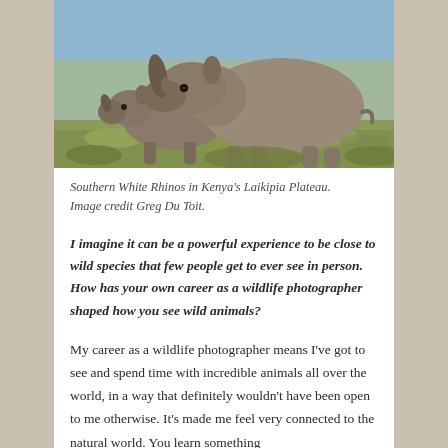[Figure (photo): Two Southern White Rhinos standing in grassland on Kenya's Laikipia Plateau. A smaller rhino on the left and a larger rhino with prominent horn on the right, with green grass and blurred blue-grey background.]
Southern White Rhinos in Kenya's Laikipia Plateau. Image credit Greg Du Toit.
I imagine it can be a powerful experience to be close to wild species that few people get to ever see in person. How has your own career as a wildlife photographer shaped how you see wild animals?
My career as a wildlife photographer means I've got to see and spend time with incredible animals all over the world, in a way that definitely wouldn't have been open to me otherwise. It's made me feel very connected to the natural world. You learn something